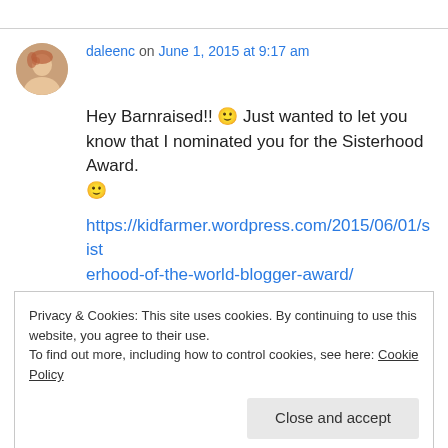daleenc on June 1, 2015 at 9:17 am
Hey Barnraised!! 🙂 Just wanted to let you know that I nominated you for the Sisterhood Award. 🙂
https://kidfarmer.wordpress.com/2015/06/01/sisterhood-of-the-world-blogger-award/
Privacy & Cookies: This site uses cookies. By continuing to use this website, you agree to their use.
To find out more, including how to control cookies, see here: Cookie Policy
Close and accept